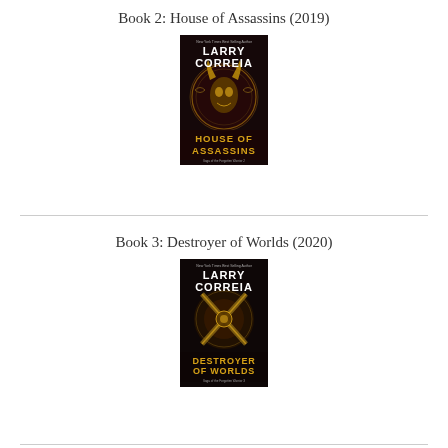Book 2: House of Assassins (2019)
[Figure (illustration): Book cover of 'House of Assassins' by Larry Correia. Dark background with golden demonic mask and swirling designs. Title text reads HOUSE OF ASSASSINS in gold letters at the bottom.]
Book 3: Destroyer of Worlds (2020)
[Figure (illustration): Book cover of 'Destroyer of Worlds' by Larry Correia. Dark background with crossed blades and golden tones. Title text reads DESTROYER OF WORLDS in gold letters at the bottom.]